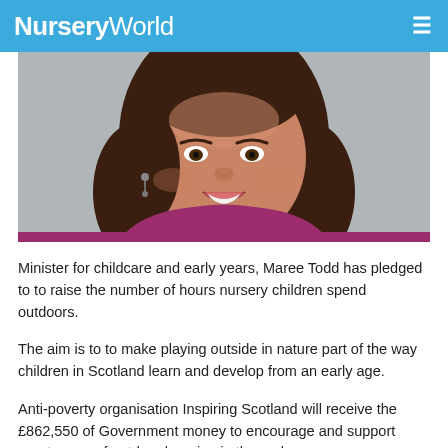NurseryWorld
[Figure (photo): Portrait photo of Maree Todd, a woman with dark brown hair, smiling, wearing a magenta/purple top, against a grey background.]
Minister for childcare and early years, Maree Todd has pledged to to raise the number of hours nursery children spend outdoors.
The aim is to to make playing outside in nature part of the way children in Scotland learn and develop from an early age.
Anti-poverty organisation Inspiring Scotland will receive the £862,550 of Government money to encourage and support greater use of outdoor learning in the early years